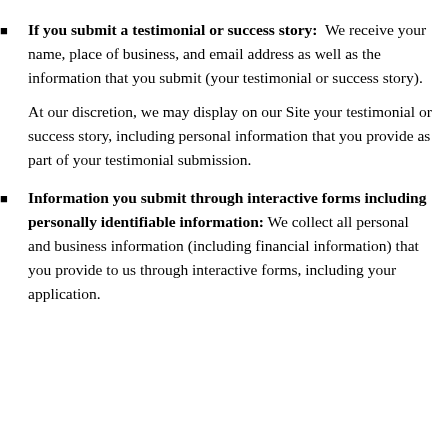If you submit a testimonial or success story: We receive your name, place of business, and email address as well as the information that you submit (your testimonial or success story).
At our discretion, we may display on our Site your testimonial or success story, including personal information that you provide as part of your testimonial submission.
Information you submit through interactive forms including personally identifiable information: We collect all personal and business information (including financial information) that you provide to us through interactive forms, including your application.